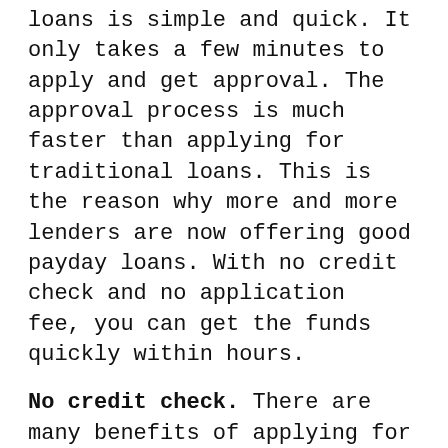loans is simple and quick. It only takes a few minutes to apply and get approval. The approval process is much faster than applying for traditional loans. This is the reason why more and more lenders are now offering good payday loans. With no credit check and no application fee, you can get the funds quickly within hours.
No credit check. There are many benefits of applying for online payday loans in Carbondale, CO. Unlike traditional bank loans that require a strict credit check to determine your creditworthiness, no credit check is required for payday loans. You may have a bad or low credit score or may be a past of bankruptcy, which usually disqualifies you from a bank loan. However, this is not required to apply for Carbondale payday loans. You can get the funds even if you have history of defaults, bankruptcy, or poor credit.